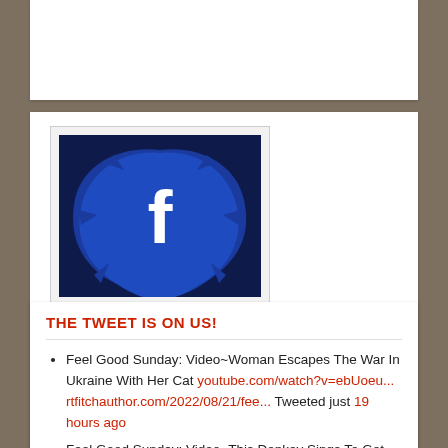[Figure (logo): Facebook logo widget with dark blue splash effect and white 'f' letter, with caption 'Follow R.T. on Facebook']
Follow R.T. on Facebook
THE TWEET IS ON US!
Feel Good Sunday: Video~Woman Escapes The War In Ukraine With Her Cat youtube.com/watch?v=ebUoeu... rtfitchauthor.com/2022/08/21/fee... Tweeted just 19 hours ago
Feel Good Sunday: Video~This Donkey Sings To Get Food...